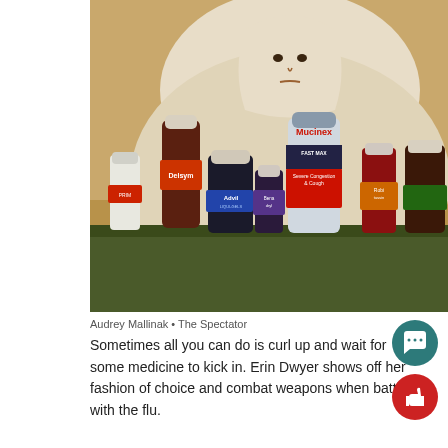[Figure (photo): A person wrapped in a fluffy white/cream blanket or sherpa robe, sitting behind a table with several cold and flu medicine bottles including Mucinex Fast Max, Advil Liqui-Gels, Delsym, Benadryl, Robitussin, and other medications arranged in front of them.]
Audrey Mallinak • The Spectator
Sometimes all you can do is curl up and wait for some medicine to kick in. Erin Dwyer shows off her fashion of choice and combat weapons when battling with the flu.